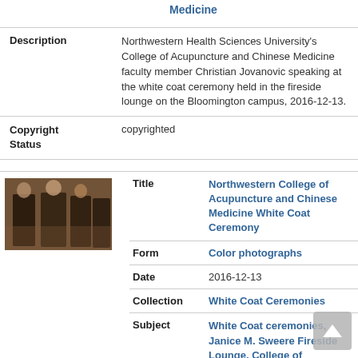Medicine
| Field | Value |
| --- | --- |
| Description | Northwestern Health Sciences University's College of Acupuncture and Chinese Medicine faculty member Christian Jovanovic speaking at the white coat ceremony held in the fireside lounge on the Bloomington campus, 2016-12-13. |
| Copyright Status | copyrighted |
[Figure (photo): Small thumbnail photograph of people at a white coat ceremony event indoors]
| Field | Value |
| --- | --- |
| Title | Northwestern College of Acupuncture and Chinese Medicine White Coat Ceremony |
| Form | Color photographs |
| Date | 2016-12-13 |
| Collection | White Coat Ceremonies |
| Subject | White Coat ceremonies, Janice M. Sweere Fireside Lounge, College of Acupuncture and Chinese Medicine, Students |